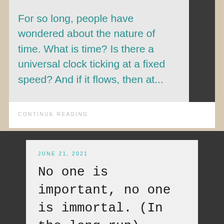For so long, people have wondered about the nature of time. What is time? Is there a universal clock ticking at a fixed speed? And if it flows, then at...
CONTINUE READING
JUNE 21, 2021
No one is important, no one is immortal. (In the long run)